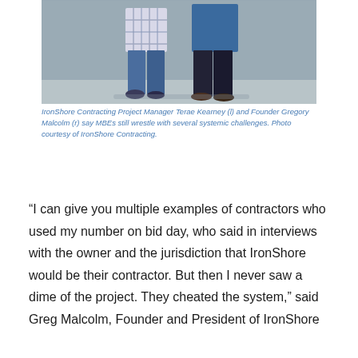[Figure (photo): Two people standing in front of a gray brick wall. The person on the left wears a plaid top and blue jeans. The person on the right wears a blue shirt and dark pants. Only their lower bodies and legs are visible in the crop.]
IronShore Contracting Project Manager Terae Kearney (l) and Founder Gregory Malcolm (r) say MBEs still wrestle with several systemic challenges. Photo courtesy of IronShore Contracting.
“I can give you multiple examples of contractors who used my number on bid day, who said in interviews with the owner and the jurisdiction that IronShore would be their contractor. But then I never saw a dime of the project. They cheated the system,” said Greg Malcolm, Founder and President of IronShore